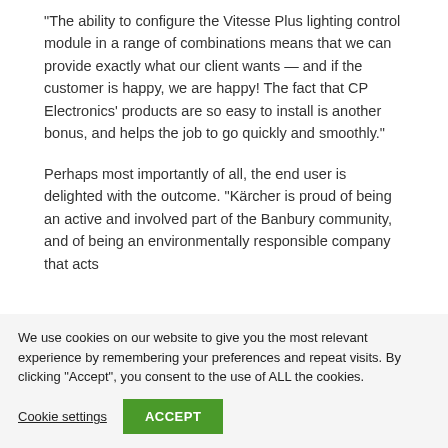“The ability to configure the Vitesse Plus lighting control module in a range of combinations means that we can provide exactly what our client wants — and if the customer is happy, we are happy! The fact that CP Electronics’ products are so easy to install is another bonus, and helps the job to go quickly and smoothly.”
Perhaps most importantly of all, the end user is delighted with the outcome. “Kärcher is proud of being an active and involved part of the Banbury community, and of being an environmentally responsible company that acts
We use cookies on our website to give you the most relevant experience by remembering your preferences and repeat visits. By clicking “Accept”, you consent to the use of ALL the cookies.
Cookie settings
ACCEPT